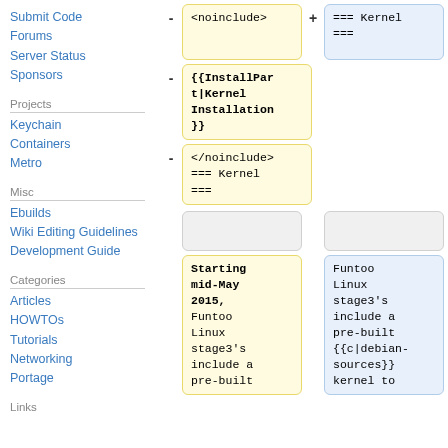Submit Code
Forums
Server Status
Sponsors
Projects
Keychain
Containers
Metro
Misc
Ebuilds
Wiki Editing Guidelines
Development Guide
Categories
Articles
HOWTOs
Tutorials
Networking
Portage
Links
[Figure (screenshot): Diff view showing wiki markup changes. Left column (yellow boxes): <noinclude>, {{InstallPart|Kernel Installation}}, </noinclude> === Kernel ===. Right column (blue box): === Kernel ===. Bottom section shows two columns with gray boxes and yellow/blue boxes containing text about 'Starting mid-May 2015, Funtoo Linux stage3's include a pre-built' and 'Funtoo Linux stage3's include a pre-built {{c|debian-sources}} kernel to'.]